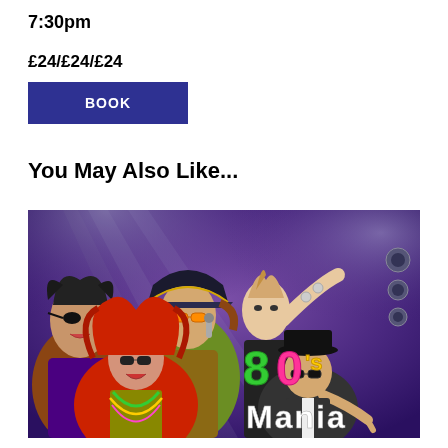7:30pm
£24/£24/£24
BOOK
You May Also Like...
[Figure (photo): Promotional photo for 80's Mania show featuring five performers in 1980s costumes including pirate hat, big hair, sequins, sunglasses and beads, with the colorful '80's Mania' logo on the right side against a purple stage lighting background.]